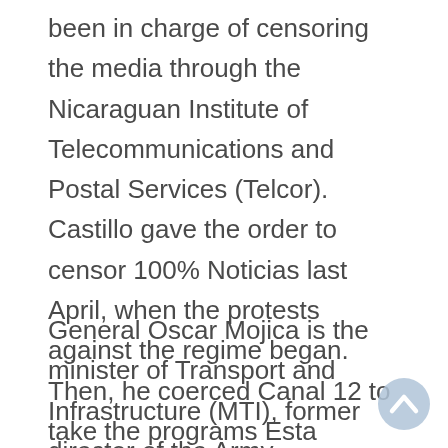been in charge of censoring the media through the Nicaraguan Institute of Telecommunications and Postal Services (Telcor). Castillo gave the order to censor 100% Noticias last April, when the protests against the regime began. Then, he coerced Canal 12 to take the programs Esta Semana and Esta Noche, directed by Carlos Fernando Chamorro, off the air. In addition, he pressured Channel 10.
General Oscar Mojica is the minister of Transport and Infrastructure (MTI), former director of the Army investment … of the Institute of Milit…